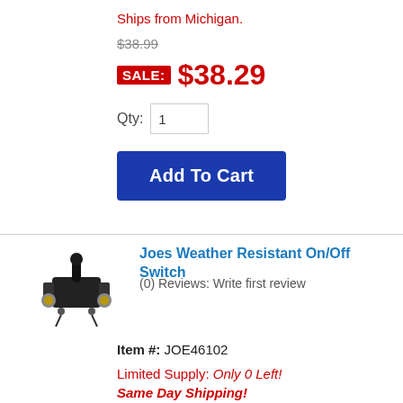Ships from Michigan.
$38.99
SALE: $38.29
Qty: 1
Add To Cart
Joes Weather Resistant On/Off Switch
(0) Reviews: Write first review
[Figure (photo): A black toggle switch with gold-colored hardware mounting, viewed at an angle.]
Item #: JOE46102
Limited Supply: Only 0 Left!
Same Day Shipping!